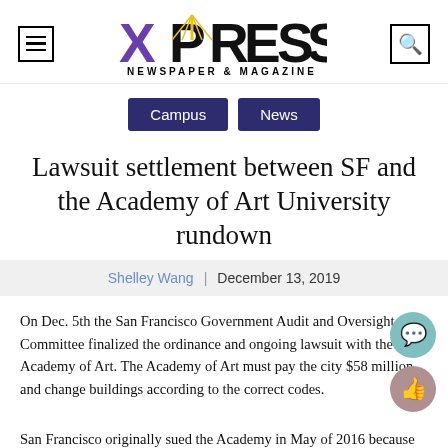XPRESS NEWSPAPER & MAGAZINE
Campus | News
Lawsuit settlement between SF and the Academy of Art University rundown
Shelley Wang | December 13, 2019
On Dec. 5th the San Francisco Government Audit and Oversight Committee finalized the ordinance and ongoing lawsuit with the Academy of Art. The Academy of Art must pay the city $58 million and change buildings according to the correct codes.
San Francisco originally sued the Academy in May of 2016 because at least 33 of the Academy's 40 buildings throughout the city including the headquarters on New Montgomery Street did not follow zoning code...